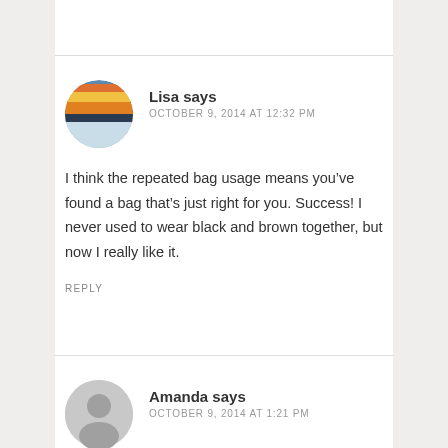Lisa says
OCTOBER 9, 2014 AT 12:32 PM
I think the repeated bag usage means you’ve found a bag that’s just right for you. Success! I never used to wear black and brown together, but now I really like it.
REPLY
Amanda says
OCTOBER 9, 2014 AT 1:21 PM